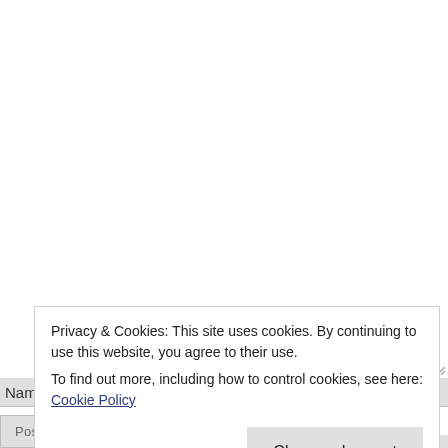Name *
Email *
W
Privacy & Cookies: This site uses cookies. By continuing to use this website, you agree to their use. To find out more, including how to control cookies, see here: Cookie Policy
Close and accept
Post Comment